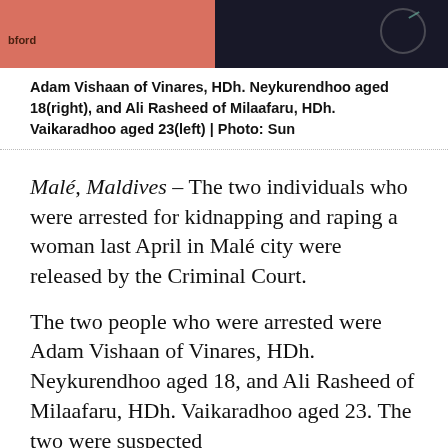[Figure (photo): Two individuals shown side by side — left side shows person in pink/red background, right side shows person against dark background with circular accessory visible]
Adam Vishaan of Vinares, HDh. Neykurendhoo aged 18(right), and Ali Rasheed of Milaafaru, HDh. Vaikaradhoo aged 23(left) | Photo: Sun
Malé, Maldives – The two individuals who were arrested for kidnapping and raping a woman last April in Malé city were released by the Criminal Court.
The two people who were arrested were Adam Vishaan of Vinares, HDh. Neykurendhoo aged 18, and Ali Rasheed of Milaafaru, HDh. Vaikaradhoo aged 23. The two were suspected